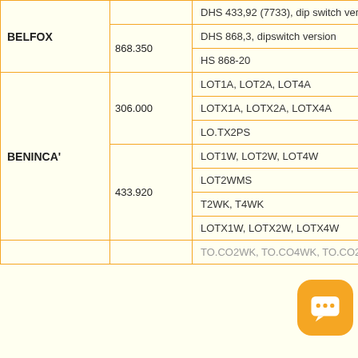| Brand | Frequency | Model |
| --- | --- | --- |
| BELFOX |  | DHS 433,92 (7733), dip switch version |
|  | 868.350 | DHS 868,3, dipswitch version |
|  |  | HS 868-20 |
| BENINCA' | 306.000 | LOT1A, LOT2A, LOT4A |
|  |  | LOTX1A, LOTX2A, LOTX4A |
|  |  | LO.TX2PS |
|  | 433.920 | LOT1W, LOT2W, LOT4W |
|  |  | LOT2WMS |
|  |  | T2WK, T4WK |
|  |  | LOTX1W, LOTX2W, LOTX4W |
|  |  | TO.CO2WK, TO.CO4WK, TO.CO2WK |